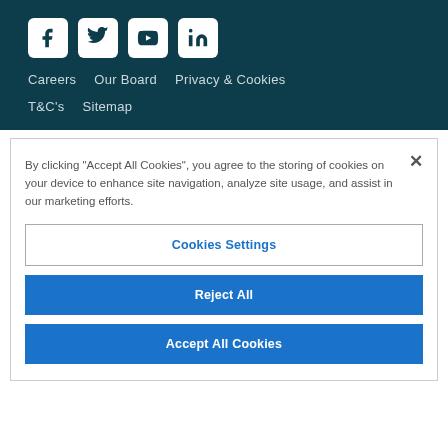[Figure (other): Social media icons: Facebook, Twitter, YouTube, LinkedIn — white rounded square icons on dark teal background]
Careers   Our Board   Privacy & Cookies
T&C's   Sitemap
By clicking “Accept All Cookies”, you agree to the storing of cookies on your device to enhance site navigation, analyze site usage, and assist in our marketing efforts.
Cookies Settings
Reject All
Accept All Cookies